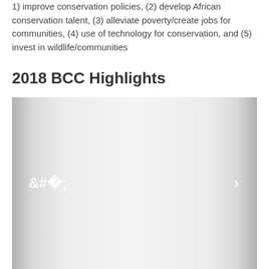1) improve conservation policies, (2) develop African conservation talent, (3) alleviate poverty/create jobs for communities, (4) use of technology for conservation, and (5) invest in wildlife/communities
2018 BCC Highlights
[Figure (photo): A carousel image viewer with left and right navigation arrows on a light gray gradient background. The carousel content area is mostly white/light gray, indicating an image placeholder or loading state.]